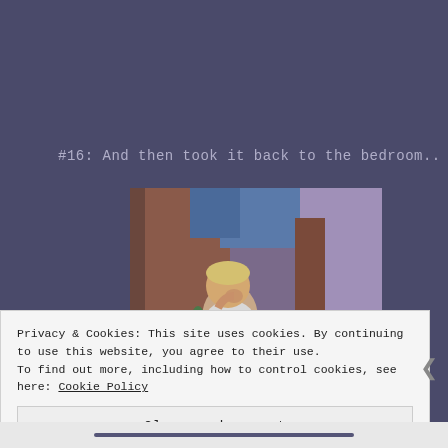#16: And then took it back to the bedroom..
[Figure (photo): A child sitting on the floor looking up at camera, with coins or small objects scattered around, in a room with purple/lavender toned walls.]
Privacy & Cookies: This site uses cookies. By continuing to use this website, you agree to their use.
To find out more, including how to control cookies, see here: Cookie Policy
Close and accept